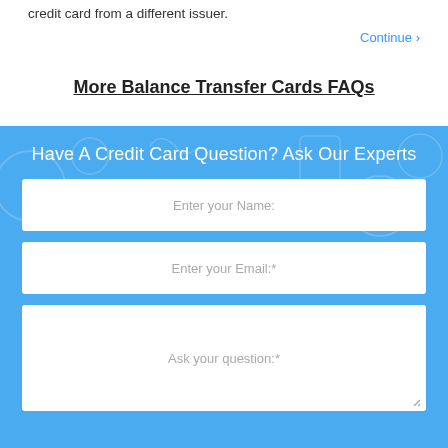credit card from a different issuer.
Continue ›
More Balance Transfer Cards FAQs
Have A Credit Card Question? Ask Our Experts
Enter your Name:
Enter your Email:*
Ask your question:*